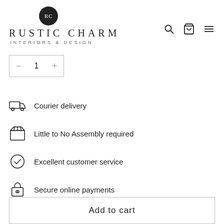[Figure (logo): Rustic Charm Interiors & Design logo: dark circle with RC initials above brand name and tagline]
[Figure (infographic): Quantity selector showing minus button, 1, plus button in bordered box]
Courier delivery
Little to No Assembly required
Excellent customer service
Secure online payments
Available
Add to cart